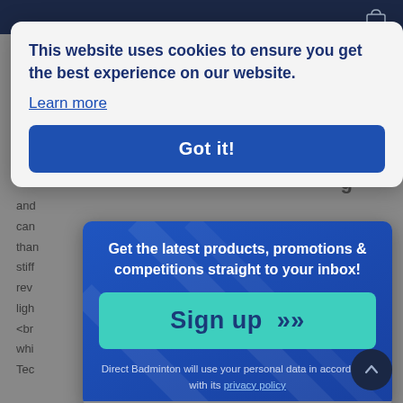This website uses cookies to ensure you get the best experience on our website. Learn more
Got it!
Get the latest products, promotions & competitions straight to your inbox!
Sign up >>
Direct Badminton will use your personal data in accordance with its privacy policy
and
can
than
stiff
rev
ligh
<br
whi
Tec